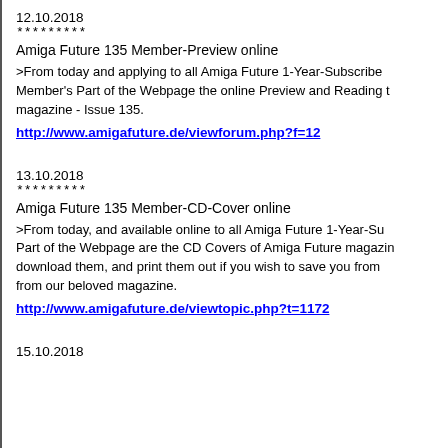12.10.2018
*********
Amiga Future 135 Member-Preview online
>From today and applying to all Amiga Future 1-Year-Subscribers in the Member's Part of the Webpage the online Preview and Reading the magazine - Issue 135.
http://www.amigafuture.de/viewforum.php?f=12
13.10.2018
*********
Amiga Future 135 Member-CD-Cover online
>From today, and available online to all Amiga Future 1-Year-Subscribers in the Member's Part of the Webpage are the CD Covers of Amiga Future magazine. You can download them, and print them out if you wish to save you from losing the CD from our beloved magazine.
http://www.amigafuture.de/viewtopic.php?t=1172
15.10.2018